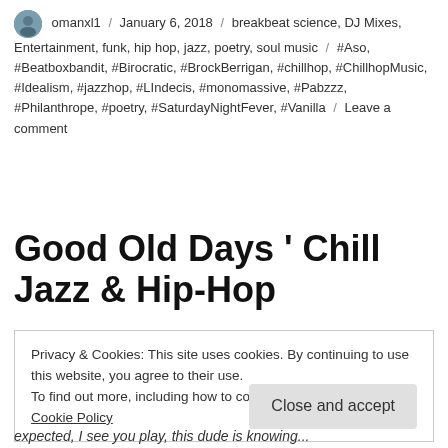omanxl1 / January 6, 2018 / breakbeat science, DJ Mixes, Entertainment, funk, hip hop, jazz, poetry, soul music / #Aso, #Beatboxbandit, #Birocratic, #BrockBerrigan, #chillhop, #ChillhopMusic, #Idealism, #jazzhop, #LIndecis, #monomassive, #Pabzzz, #Philanthrope, #poetry, #SaturdayNightFever, #Vanilla / Leave a comment
Good Old Days ' Chill Jazz & Hip-Hop
Privacy & Cookies: This site uses cookies. By continuing to use this website, you agree to their use.
To find out more, including how to control cookies, see here:
Cookie Policy
Close and accept
expected, I see you play, this dude is knowing...